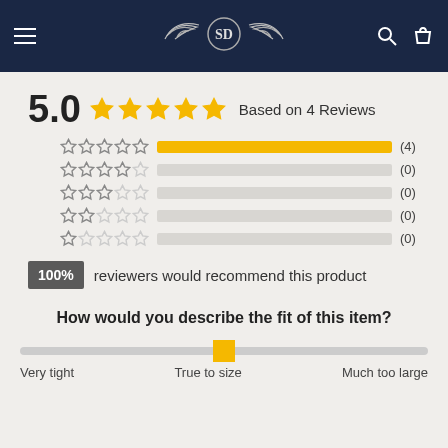[Figure (screenshot): Navy blue navigation bar with hamburger menu on left, winged logo in center, search and cart icons on right]
5.0 ★★★★★ Based on 4 Reviews
[Figure (bar-chart): Star rating distribution]
100% reviewers would recommend this product
How would you describe the fit of this item?
[Figure (infographic): Fit slider showing True to size position, with endpoints Very tight and Much too large]